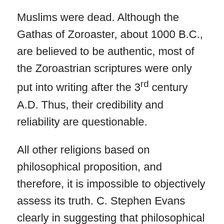Muslims were dead. Although the Gathas of Zoroaster, about 1000 B.C., are believed to be authentic, most of the Zoroastrian scriptures were only put into writing after the 3rd century A.D. Thus, their credibility and reliability are questionable.
All other religions based on philosophical proposition, and therefore, it is impossible to objectively assess its truth. C. Stephen Evans clearly in suggesting that philosophical ‘proofs’ for most today are complicated, technical, abstract and hard to follow. Such reasoning he asserts is suitable for the professional philosopher, but offers nothing for the ordinary person. A legal approach to ‘proof’ is therefore more personable, accessible